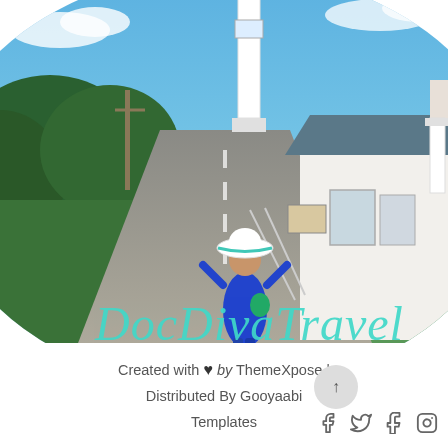[Figure (photo): Oval-shaped photo of a woman in a blue outfit and white hat walking toward a lighthouse on a coastal road, with green trees and a white building visible. The brand name 'DocDivaTravel' is overlaid in teal cursive script.]
Created with ♥ by ThemeXpose | Distributed By Gooyaabi Templates